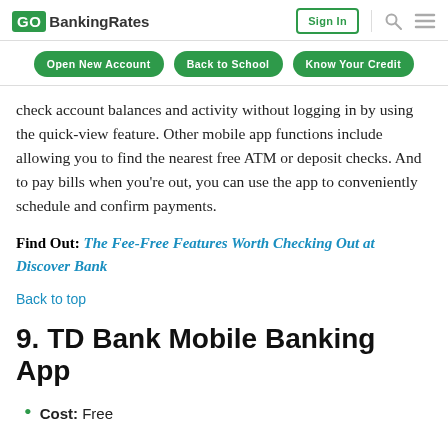GO BankingRates | Sign In
Open New Account | Back to School | Know Your Credit
check account balances and activity without logging in by using the quick-view feature. Other mobile app functions include allowing you to find the nearest free ATM or deposit checks. And to pay bills when you're out, you can use the app to conveniently schedule and confirm payments.
Find Out: The Fee-Free Features Worth Checking Out at Discover Bank
Back to top
9. TD Bank Mobile Banking App
Cost: Free